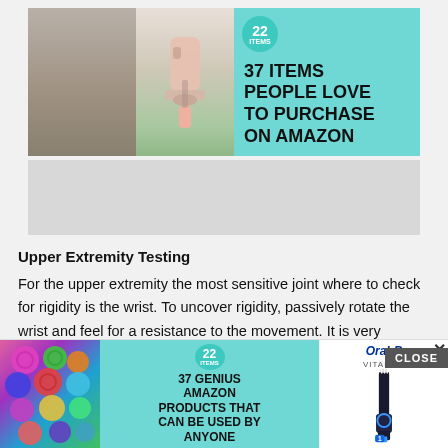[Figure (infographic): Top advertisement banner with teal background showing '22 — 37 ITEMS PEOPLE LOVE TO PURCHASE ON AMAZON', with two product photos on the left]
[Figure (photo): Gray blank placeholder area below the top ad]
Upper Extremity Testing
For the upper extremity the most sensitive joint where to check for rigidity is the wrist. To uncover rigidity, passively rotate the wrist and feel for a resistance to the movement. It is very important that the arm of the patient is fully relaxed when rotating the wrist. To do this, place your hand under the patient's forearm... s and rotates... t, the range of...
[Figure (infographic): Bottom overlay advertisement showing colorful scrunchies on the left, center teal area with '22 — 37 GENIUS AMAZON PRODUCTS THAT CAN BE USED BY ANYONE', and right side showing Oral-B Vitality toothbrush with CLOSE button and X close button]